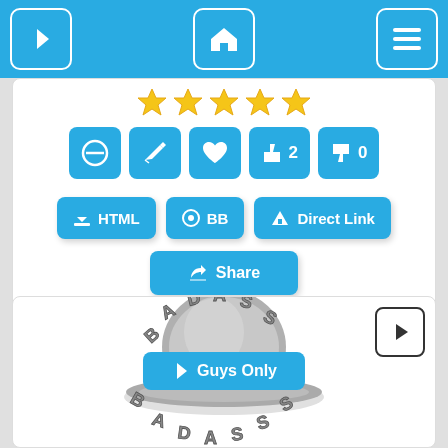[Figure (screenshot): App navigation bar with back arrow, home icon, and menu icon on a blue background]
[Figure (screenshot): Content card with 5 gold stars, action icon buttons (block, edit, heart, thumbs up x2, thumbs down x0), HTML/BB/Direct Link share buttons, and a Share button]
[Figure (screenshot): Second card with a play button, a Guys Only navigation button, and a BADASS hat illustration]